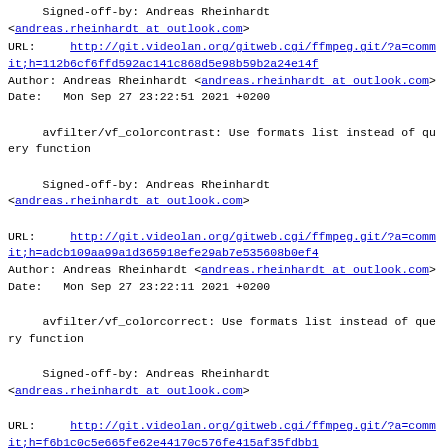Signed-off-by: Andreas Rheinhardt <andreas.rheinhardt at outlook.com>
URL:    http://git.videolan.org/gitweb.cgi/ffmpeg.git/?a=commit;h=112b6cf6ffd592ac141c868d5e98b59b2a24e14f
Author: Andreas Rheinhardt <andreas.rheinhardt at outlook.com>
Date:   Mon Sep 27 23:22:51 2021 +0200
avfilter/vf_colorcontrast: Use formats list instead of query function
Signed-off-by: Andreas Rheinhardt <andreas.rheinhardt at outlook.com>
URL:    http://git.videolan.org/gitweb.cgi/ffmpeg.git/?a=commit;h=adcb109aa99a1d365918efe29ab7e535608b0ef4
Author: Andreas Rheinhardt <andreas.rheinhardt at outlook.com>
Date:   Mon Sep 27 23:22:11 2021 +0200
avfilter/vf_colorcorrect: Use formats list instead of query function
Signed-off-by: Andreas Rheinhardt <andreas.rheinhardt at outlook.com>
URL:    http://git.videolan.org/gitweb.cgi/ffmpeg.git/?a=commit;h=f6b1c0c5e665fe62e44170c576fe415af35fdbb1
Author: Andreas Rheinhardt <andreas.rheinhardt at outlook.com>